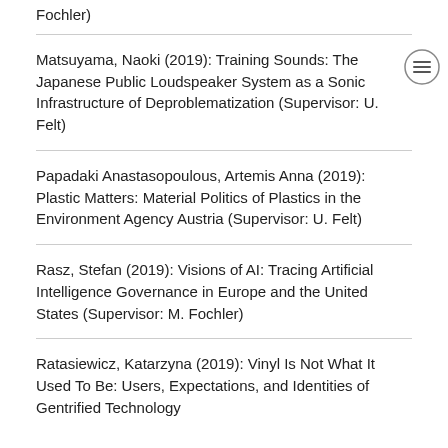Fochler)
Matsuyama, Naoki (2019): Training Sounds: The Japanese Public Loudspeaker System as a Sonic Infrastructure of Deproblematization (Supervisor: U. Felt)
Papadaki Anastasopoulous, Artemis Anna (2019): Plastic Matters: Material Politics of Plastics in the Environment Agency Austria (Supervisor: U. Felt)
Rasz, Stefan (2019): Visions of AI: Tracing Artificial Intelligence Governance in Europe and the United States (Supervisor: M. Fochler)
Ratasiewicz, Katarzyna (2019): Vinyl Is Not What It Used To Be: Users, Expectations, and Identities of Gentrified Technology